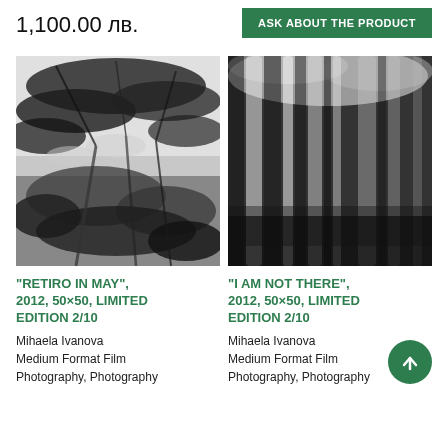1,100.00 лв.
ASK ABOUT THE PRODUCT
[Figure (photo): Black and white photograph of tree branches and foliage reflected in water, high contrast]
[Figure (photo): Black and white blurred photograph of tall trees in a forest, dark and moody]
"RETIRO IN MAY", 2012, 50×50, LIMITED EDITION 2/10
Mihaela Ivanova
Medium Format Film
Photography, Photography
"I AM NOT THERE", 2012, 50×50, LIMITED EDITION 2/10
Mihaela Ivanova
Medium Format Film
Photography, Photography